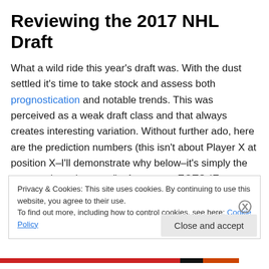Reviewing the 2017 NHL Draft
What a wild ride this year's draft was. With the dust settled it's time to take stock and assess both prognostication and notable trends. This was perceived as a weak draft class and that always creates interesting variation. Without further ado, here are the prediction numbers (this isn't about Player X at position X–I'll demonstrate why below–it's simply the correct player by round).  Acronyms: EOTS (Eye on the Sens), FC (Future Considerations), HP (Hockey Prospects), RLR (Red Line Report), and ISS
Privacy & Cookies: This site uses cookies. By continuing to use this website, you agree to their use.
To find out more, including how to control cookies, see here: Cookie Policy
Close and accept